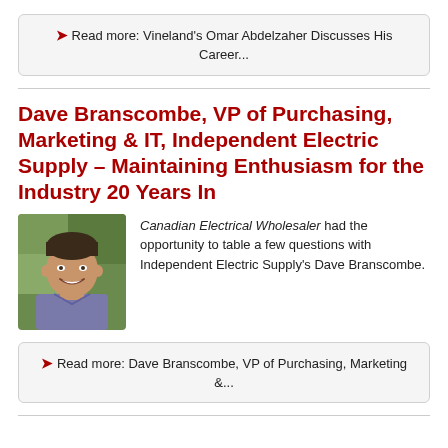Read more: Vineland's Omar Abdelzaher Discusses His Career...
Dave Branscombe, VP of Purchasing, Marketing & IT, Independent Electric Supply – Maintaining Enthusiasm for the Industry 20 Years In
[Figure (photo): Headshot of Dave Branscombe, a smiling man in a blue/purple polo shirt, photographed outdoors with green foliage background.]
Canadian Electrical Wholesaler had the opportunity to table a few questions with Independent Electric Supply's Dave Branscombe.
Read more: Dave Branscombe, VP of Purchasing, Marketing &...